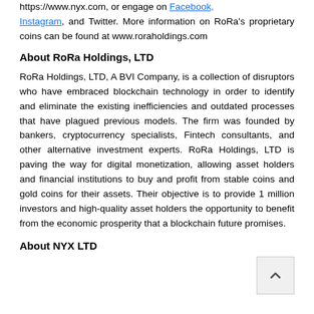https://www.nyx.com, or engage on Facebook, Instagram, and Twitter. More information on RoRa's proprietary coins can be found at www.roraholdings.com
About RoRa Holdings, LTD
RoRa Holdings, LTD, A BVI Company, is a collection of disruptors who have embraced blockchain technology in order to identify and eliminate the existing inefficiencies and outdated processes that have plagued previous models. The firm was founded by bankers, cryptocurrency specialists, Fintech consultants, and other alternative investment experts. RoRa Holdings, LTD is paving the way for digital monetization, allowing asset holders and financial institutions to buy and profit from stable coins and gold coins for their assets. Their objective is to provide 1 million investors and high-quality asset holders the opportunity to benefit from the economic prosperity that a blockchain future promises.
About NYX LTD